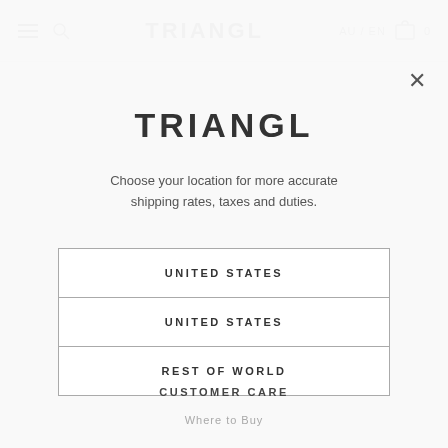TRIANGL  AU / EN  0
TRIANGL
Choose your location for more accurate shipping rates, taxes and duties.
UNITED STATES
UNITED STATES
REST OF WORLD
CUSTOMER CARE
Where to Buy